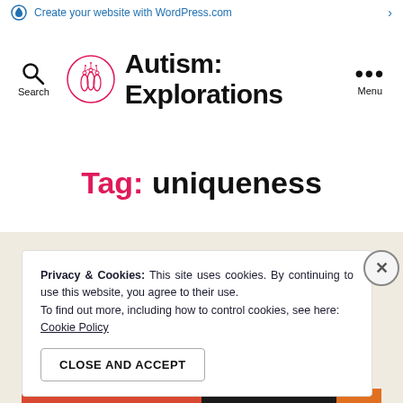Create your website with WordPress.com
Autism: Explorations
Tag: uniqueness
Privacy & Cookies: This site uses cookies. By continuing to use this website, you agree to their use.
To find out more, including how to control cookies, see here: Cookie Policy
CLOSE AND ACCEPT